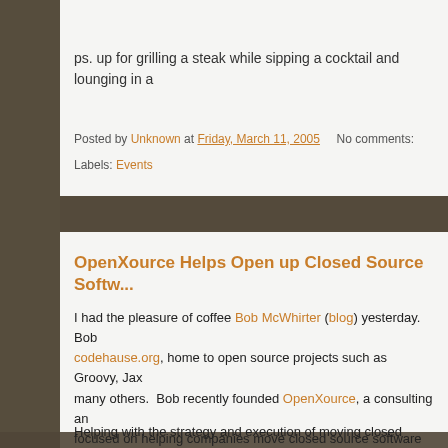ps. up for grilling a steak while sipping a cocktail and lounging in a
Posted by Unknown at Friday, March 11, 2005   No comments:
Labels: Events
OpenXource Helps Open up Closed Source Softw...
I had the pleasure of coffee Bob McWhirter (blog) yesterday.  Bob... codehause.org, home to open source projects such as Groovy, Jax... many others.  Bob recently founded OpenXource, a consulting an... focused on helping companies move closed source software to op...
Helping with the strategy and execution of moving closed source...